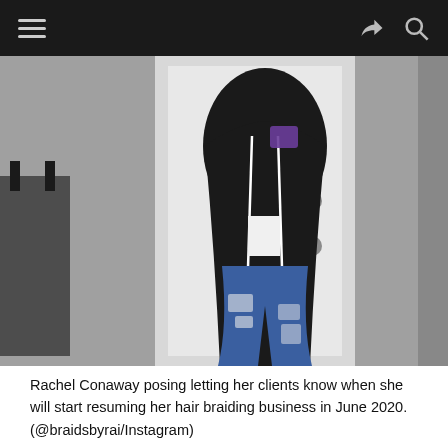navigation header with hamburger menu, share icon, and search icon
[Figure (photo): Rachel Conaway standing in front of a white door, wearing a black satin baseball-style jacket with white piping and purple logo patch, a white undershirt, and distressed blue jeans. A dark folding chair is visible to the left.]
Rachel Conaway posing letting her clients know when she will start resuming her hair braiding business in June 2020. (@braidsbyrai/Instagram)